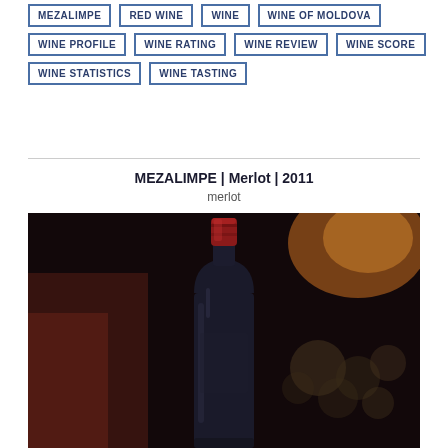MEZALIMPE
RED WINE
WINE
WINE OF MOLDOVA
WINE PROFILE
WINE RATING
WINE REVIEW
WINE SCORE
WINE STATISTICS
WINE TASTING
MEZALIMPE | Merlot | 2011
merlot
[Figure (photo): Dark wine bottle with red foil cap centered in frame against a dark background with blurred wine barrels or bottles in the background. Warm amber/orange bokeh light visible in upper right.]